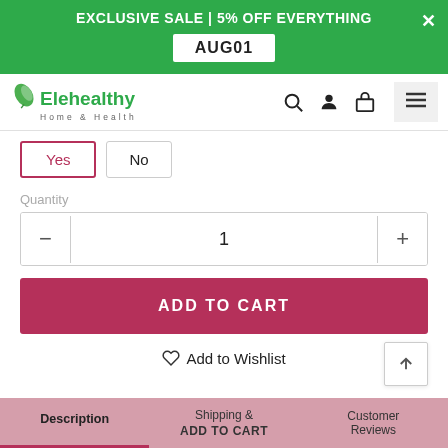EXCLUSIVE SALE | 5% OFF EVERYTHING AUG01
[Figure (logo): Elehealthy Home & Health logo with green leaf]
Yes  No
Quantity
1
ADD TO CART
Add to Wishlist
Description  Shipping & Returns  Customer Reviews  ADD TO CART